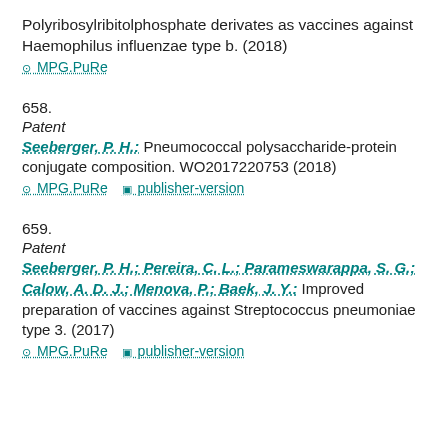Polyribosylribitolphosphate derivates as vaccines against Haemophilus influenzae type b. (2018)
MPG.PuRe
658.
Patent
Seeberger, P. H.: Pneumococcal polysaccharide-protein conjugate composition. WO2017220753 (2018)
MPG.PuRe   publisher-version
659.
Patent
Seeberger, P. H.; Pereira, C. L.; Parameswarappa, S. G.; Calow, A. D. J.; Menova, P.; Baek, J. Y.: Improved preparation of vaccines against Streptococcus pneumoniae type 3. (2017)
MPG.PuRe   publisher-version